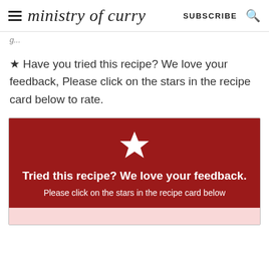ministry of curry  SUBSCRIBE
★ Have you tried this recipe? We love your feedback, Please click on the stars in the recipe card below to rate.
[Figure (infographic): Red recipe card with a white star icon, bold text 'Tried this recipe? We love your feedback.' and subtitle 'Please click on the stars in the recipe card below']